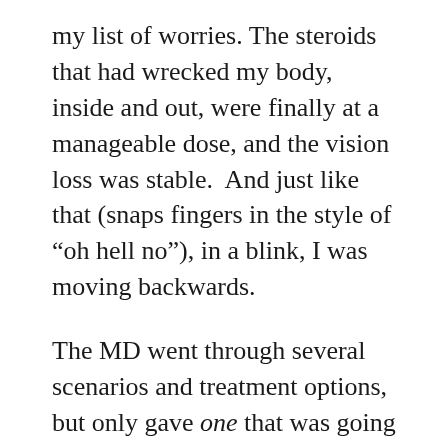my list of worries. The steroids that had wrecked my body, inside and out, were finally at a manageable dose, and the vision loss was stable.  And just like that (snaps fingers in the style of “oh hell no”), in a blink, I was moving backwards.
The MD went through several scenarios and treatment options, but only gave one that was going to work for me given all the factors involved.  I’m extremely grateful for the advances of science, as only eleven years ago I would have been SOL (google it, if you’re not sure).  However, I would be lying if told you that I was anything less than freaked out when he first said “a series of eye injections” followed